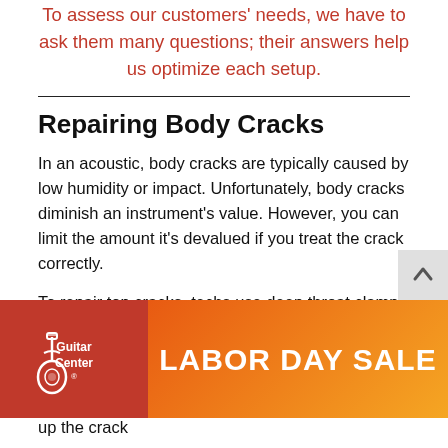To assess our customers' needs, we have to ask them many questions; their answers help us optimize each setup.
Repairing Body Cracks
In an acoustic, body cracks are typically caused by low humidity or impact. Unfortunately, body cracks diminish an instrument's value. However, you can limit the amount it's devalued if you treat the crack correctly.
To repair top cracks, techs use deep throat clamps and specialized cauls to ensure the crack closes flush when glued. Repairing side cracks involves powerful rare-earth magnets that are a little more complex to set up. In this case, the goal is to close up the crack
[Figure (advertisement): Guitar Center Labor Day Sale advertisement banner with Guitar Center logo on red background and 'LABOR DAY SALE' text on orange-red gradient background]